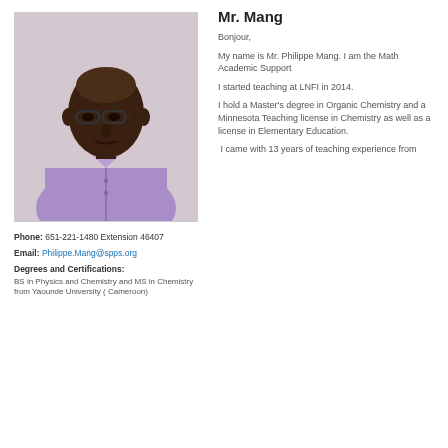[Figure (photo): Portrait photo of Mr. Philippe Mang, a man wearing glasses and a light purple button-up shirt, against a light background.]
Phone: 651-221-1480 Extension 46407
Email: Philippe.Mang@spps.org
Degrees and Certifications:
BS in Physics and Chemistry and MS in Chemistry from Yaounde University ( Cameroon)
Mr. Mang
Bonjour,
My name is Mr. Philippe Mang. I am the Math Academic Support
I started teaching at LNFI in 2014.
I hold a Master's degree in Organic Chemistry and a Minnesota Teaching license in Chemistry as well as a license in Elementary Education.
I came with 13 years of teaching experience from